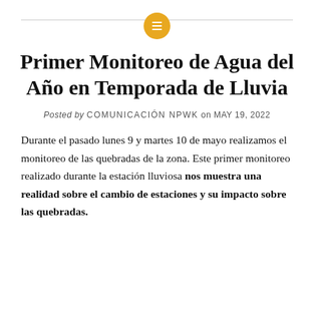[Figure (logo): Golden/amber circular icon with three horizontal white lines (hamburger/list icon), centered on a horizontal gray divider line]
Primer Monitoreo de Agua del Año en Temporada de Lluvia
Posted by COMUNICACIÓN NPWK on MAY 19, 2022
Durante el pasado lunes 9 y martes 10 de mayo realizamos el monitoreo de las quebradas de la zona. Este primer monitoreo realizado durante la estación lluviosa nos muestra una realidad sobre el cambio de estaciones y su impacto sobre las quebradas.